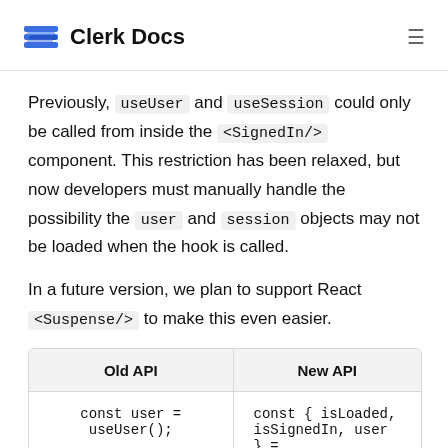Clerk Docs
Previously, useUser and useSession could only be called from inside the <SignedIn/> component. This restriction has been relaxed, but now developers must manually handle the possibility the user and session objects may not be loaded when the hook is called.
In a future version, we plan to support React <Suspense/> to make this even easier.
| Old API | New API |
| --- | --- |
| const user = useUser(); | const { isLoaded, isSignedIn, user } = |